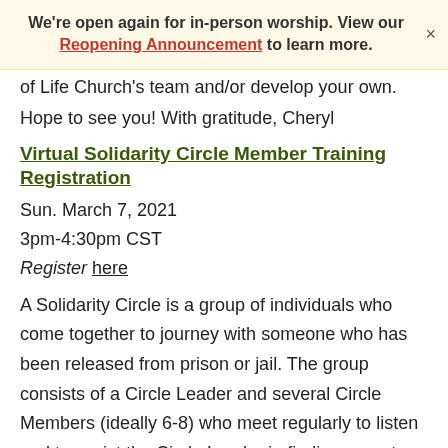We're open again for in-person worship. View our Reopening Announcement to learn more.
of Life Church's team and/or develop your own.
Hope to see you! With gratitude, Cheryl
Virtual Solidarity Circle Member Training Registration
Sun. March 7, 2021
3pm-4:30pm CST
Register here
A Solidarity Circle is a group of individuals who come together to journey with someone who has been released from prison or jail. The group consists of a Circle Leader and several Circle Members (ideally 6-8) who meet regularly to listen and to assist the Circle Leader in finding ways to meet both immediate and long term needs, and to achieve independence.  The Concentrated Training session is a meeting with all of the Circle Members before the first